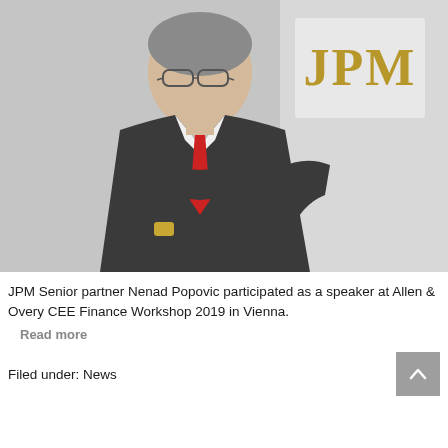[Figure (photo): Professional headshot of JPM Senior partner Nenad Popovic in a dark suit with red tie, arms crossed, with a JPM logo visible in the background]
JPM Senior partner Nenad Popovic participated as a speaker at Allen & Overy CEE Finance Workshop 2019 in Vienna.
Read more
Filed under: News